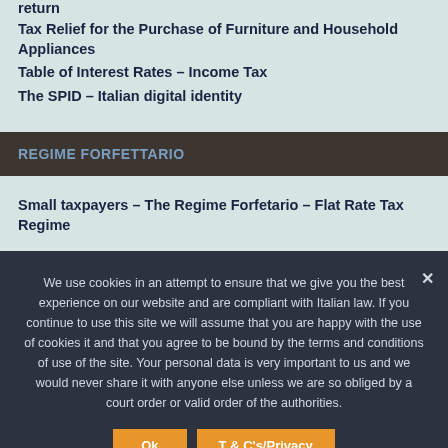return
Tax Relief for the Purchase of Furniture and Household Appliances
Table of Interest Rates – Income Tax
The SPID – Italian digital identity
REGIME FORFETTARIO
Small taxpayers – The Regime Forfetario – Flat Rate Tax Regime
We use cookies in an attempt to ensure that we give you the best experience on our website and are compliant with Italian law. If you continue to use this site we will assume that you are happy with the use of cookies it and that you agree to be bound by the terms and conditions of use of the site. Your personal data is very important to us and we would never share it with anyone else unless we are so obliged by a court order or valid order of the authorities.
Ok  T & C's/Privacy